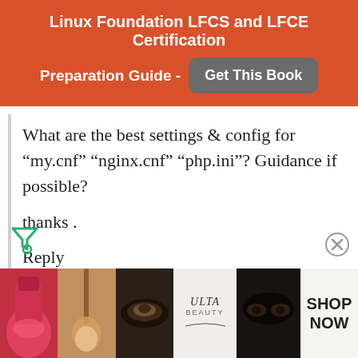Linux Foundation LFCS and LFCE Certification Preparation Guide - Get This Book
What are the best settings & config for “my.cnf” “nginx.cnf” “php.ini”? Guidance if possible?

thanks .
Reply
[Figure (advertisement): Ulta Beauty advertisement banner showing makeup imagery with SHOP NOW button]